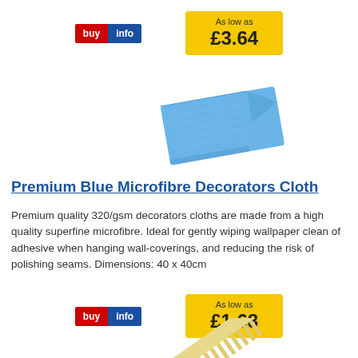[Figure (other): Buy and info buttons with price badge showing As low as £3.64]
[Figure (photo): Blue microfibre cloth product image shown at an angle]
Premium Blue Microfibre Decorators Cloth
Premium quality 320/gsm decorators cloths are made from a high quality superfine microfibre. Ideal for gently wiping wallpaper clean of adhesive when hanging wall-coverings, and reducing the risk of polishing seams. Dimensions: 40 x 40cm
[Figure (other): Buy and info buttons with price badge showing As low as £1.68]
[Figure (photo): Yellow/cream comb tool product image at bottom of page]